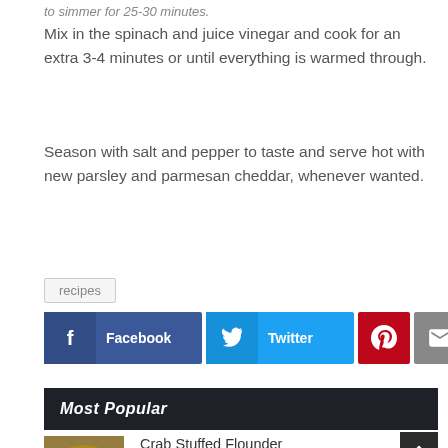to simmer for 25-30 minutes.
Mix in the spinach and juice vinegar and cook for an extra 3-4 minutes or until everything is warmed through.
Season with salt and pepper to taste and serve hot with new parsley and parmesan cheddar, whenever wanted.
recipes
[Figure (infographic): Social share buttons: Facebook, Twitter, Pinterest, Email, More (+)]
Most Popular
Crab Stuffed Flounder
March 19, 2020